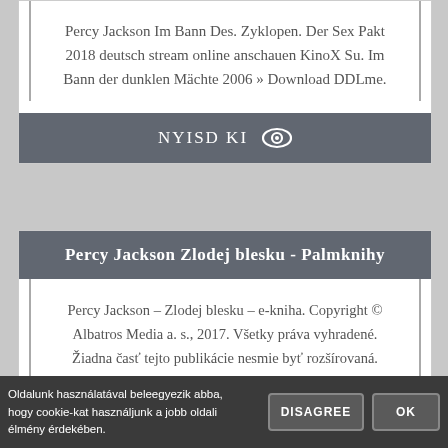Percy Jackson Im Bann Des. Zyklopen. Der Sex Pakt 2018 deutsch stream online anschauen KinoX Su. Im Bann der dunklen Mächte 2006 » Download DDLme.
NYISD KI
Percy Jackson Zlodej blesku - Palmknihy
Percy Jackson – Zlodej blesku – e-kniha. Copyright © Albatros Media a. s., 2017. Všetky práva vyhradené. Žiadna časť tejto publikácie nesmie byť rozšírovaná.
Oldalunk használatával beleegyezik abba, hogy cookie-kat használjunk a jobb oldali élmény érdekében. DISAGREE OK